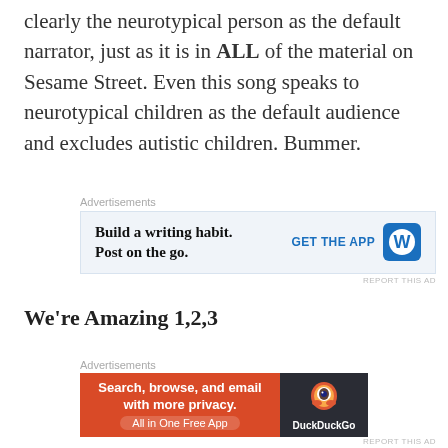clearly the neurotypical person as the default narrator, just as it is in ALL of the material on Sesame Street. Even this song speaks to neurotypical children as the default audience and excludes autistic children. Bummer.
[Figure (screenshot): Advertisement for WordPress app: 'Build a writing habit. Post on the go.' with 'GET THE APP' button and WordPress logo]
We're Amazing 1,2,3
This digital storybook is the only place where Julia the autistic muppet appears, as a cartoon drawing. And yet the book is intentionally from Elmo's point
[Figure (screenshot): Advertisement for DuckDuckGo app: 'Search, browse, and email with more privacy. All in One Free App' with DuckDuckGo logo]